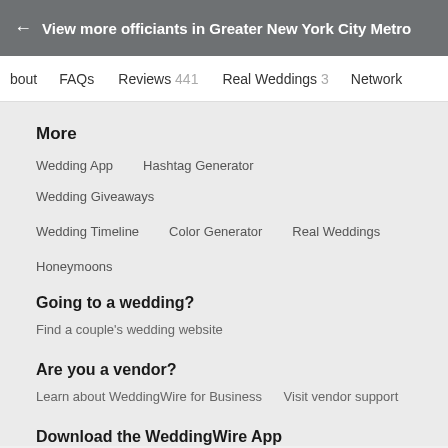← View more officiants in Greater New York City Metro
bout   FAQs   Reviews 441   Real Weddings 3   Network
More
Wedding App
Hashtag Generator
Wedding Giveaways
Wedding Timeline
Color Generator
Real Weddings
Honeymoons
Going to a wedding?
Find a couple's wedding website
Are you a vendor?
Learn about WeddingWire for Business   Visit vendor support
Download the WeddingWire App